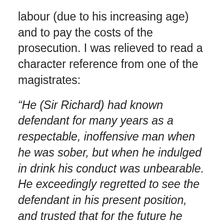labour (due to his increasing age) and to pay the costs of the prosecution. I was relieved to read a character reference from one of the magistrates:
“He (Sir Richard) had known defendant for many years as a respectable, inoffensive man when he was sober, but when he indulged in drink his conduct was unbearable. He exceedingly regretted to see the defendant in his present position, and trusted that for the future he would keep from the drink and behave himself well.”